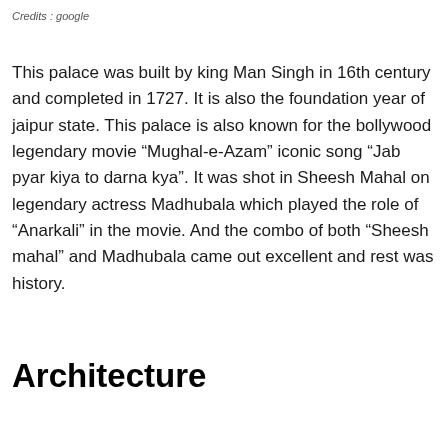Credits : google
This palace was built by king Man Singh in 16th century and completed in 1727. It is also the foundation year of jaipur state. This palace is also known for the bollywood legendary movie “Mughal-e-Azam” iconic song “Jab pyar kiya to darna kya”. It was shot in Sheesh Mahal on legendary actress Madhubala which played the role of “Anarkali” in the movie. And the combo of both “Sheesh mahal” and Madhubala came out excellent and rest was history.
Architecture